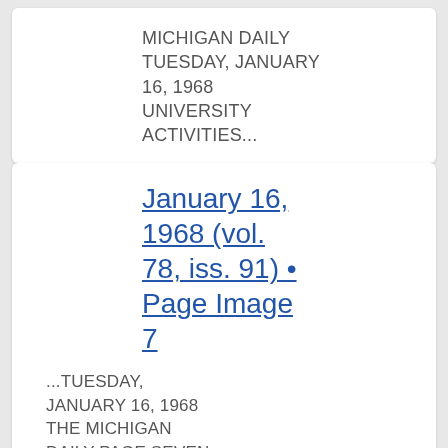MICHIGAN DAILY TUESDAY, JANUARY 16, 1968 UNIVERSITY ACTIVITIES...
January 16, 1968 (vol. 78, iss. 91) • Page Image 7
...TUESDAY, JANUARY 16, 1968 THE MICHIGAN DAILY PAGE SEVEN For Direct Classi ijed